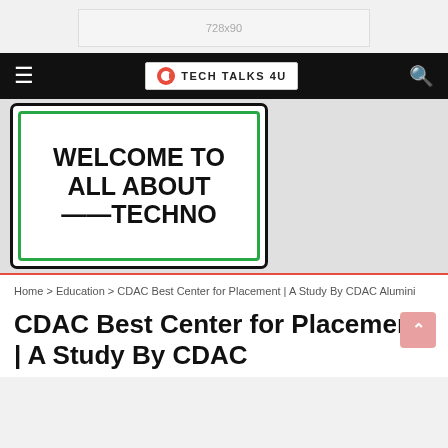[Figure (other): 728x90 advertisement banner placeholder]
Tech Talks 4U - navigation bar with hamburger menu, logo, and search icon
[Figure (photo): Welcome banner image showing text: WELCOME TO, ALL ABOUT, ——TECHNO (partially cropped), with green and black border on white background]
Home > Education > CDAC Best Center for Placement | A Study By CDAC Alumini
CDAC Best Center for Placement | A Study By CDAC